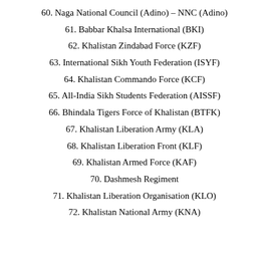60. Naga National Council (Adino) – NNC (Adino)
61. Babbar Khalsa International (BKI)
62. Khalistan Zindabad Force (KZF)
63. International Sikh Youth Federation (ISYF)
64. Khalistan Commando Force (KCF)
65. All-India Sikh Students Federation (AISSF)
66. Bhindala Tigers Force of Khalistan (BTFK)
67. Khalistan Liberation Army (KLA)
68. Khalistan Liberation Front (KLF)
69. Khalistan Armed Force (KAF)
70. Dashmesh Regiment
71. Khalistan Liberation Organisation (KLO)
72. Khalistan National Army (KNA)